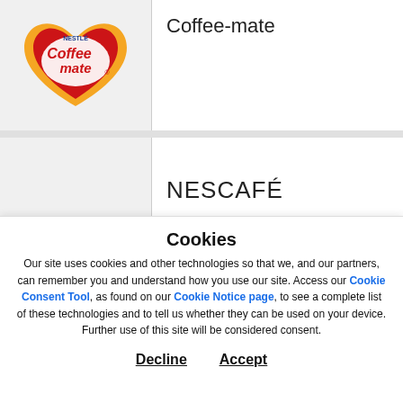[Figure (logo): Coffee-mate brand logo with Nestlé wordmark, red and yellow heart shape with 'Coffee mate' text in red and white]
Coffee-mate
NESCAFÉ
Cookies
Our site uses cookies and other technologies so that we, and our partners, can remember you and understand how you use our site. Access our Cookie Consent Tool, as found on our Cookie Notice page, to see a complete list of these technologies and to tell us whether they can be used on your device. Further use of this site will be considered consent.
Decline    Accept